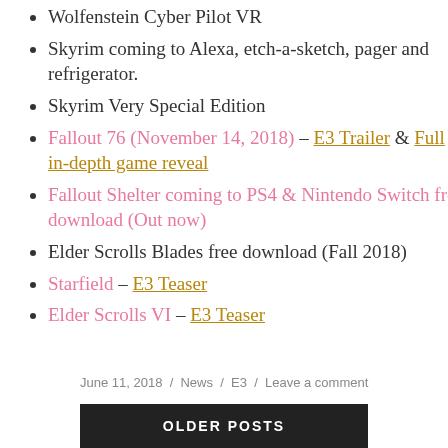Wolfenstein Cyber Pilot VR
Skyrim coming to Alexa, etch-a-sketch, pager and refrigerator.
Skyrim Very Special Edition
Fallout 76 (November 14, 2018) – E3 Trailer & Full in-depth game reveal
Fallout Shelter coming to PS4 & Nintendo Switch free download (Out now)
Elder Scrolls Blades free download (Fall 2018)
Starfield – E3 Teaser
Elder Scrolls VI – E3 Teaser
June 11, 2018 / News / E3 / Leave a comment
OLDER POSTS